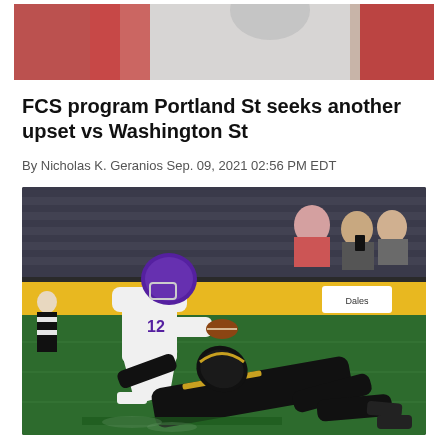[Figure (photo): Partial top photo showing people in red/white clothing, cropped from top]
FCS program Portland St seeks another upset vs Washington St
By Nicholas K. Geranios Sep. 09, 2021 02:56 PM EDT
[Figure (photo): Football game photo: quarterback wearing number 12 in white and purple uniform being tackled by defender in black uniform on green field, with yellow stadium advertising board in background and spectators]